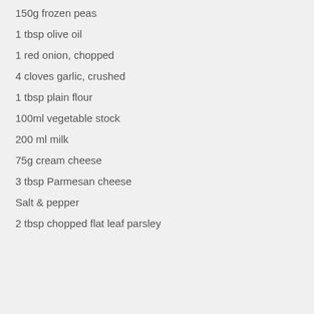150g frozen peas
1 tbsp olive oil
1 red onion, chopped
4 cloves garlic, crushed
1 tbsp plain flour
100ml vegetable stock
200 ml milk
75g cream cheese
3 tbsp Parmesan cheese
Salt & pepper
2 tbsp chopped flat leaf parsley